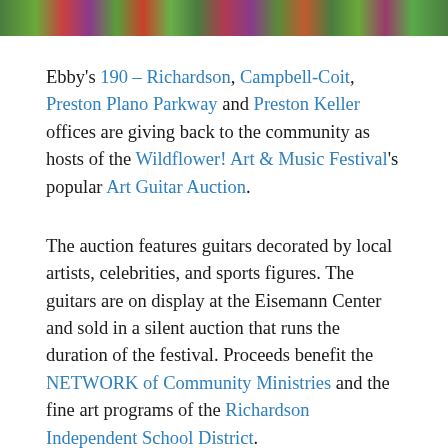[Figure (photo): Colorful wildflower garden strip at the top of the page]
Ebby's 190 – Richardson, Campbell-Coit, Preston Plano Parkway and Preston Keller offices are giving back to the community as hosts of the Wildflower! Art & Music Festival's popular Art Guitar Auction.
The auction features guitars decorated by local artists, celebrities, and sports figures. The guitars are on display at the Eisemann Center and sold in a silent auction that runs the duration of the festival. Proceeds benefit the NETWORK of Community Ministries and the fine art programs of the Richardson Independent School District.
If you haven't gotten your tickets to this year's Wildflower!